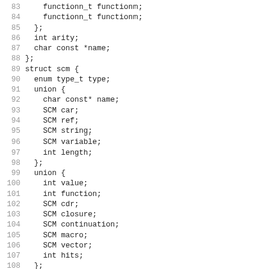[Figure (screenshot): Source code listing in C showing struct definitions and preprocessor directives, lines 83-115. Contains struct scm definition with enum, union fields, and preprocessor blocks #endif, #if __MESC__, #endif.]